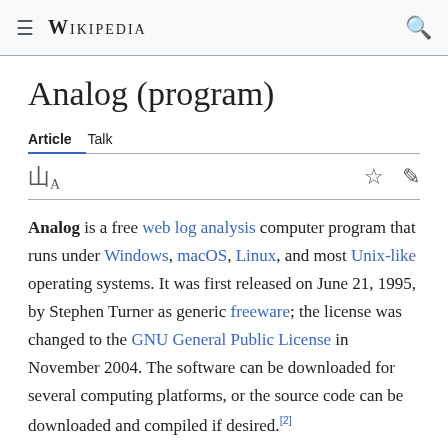≡ WIKIPEDIA 🔍
Analog (program)
Article  Talk
Analog is a free web log analysis computer program that runs under Windows, macOS, Linux, and most Unix-like operating systems. It was first released on June 21, 1995, by Stephen Turner as generic freeware; the license was changed to the GNU General Public License in November 2004. The software can be downloaded for several computing platforms, or the source code can be downloaded and compiled if desired.[2]